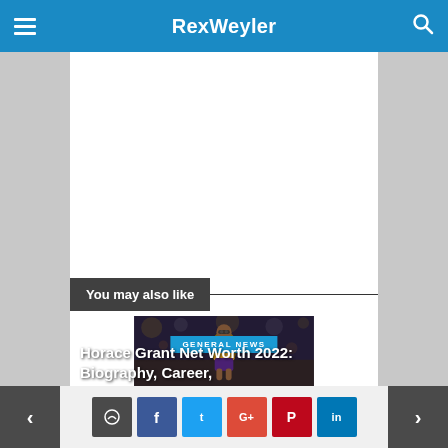RexWeyler
You may also like
[Figure (photo): Basketball player in Lakers jersey, blurred background crowd]
Horace Grant Net Worth 2022: Biography, Career,